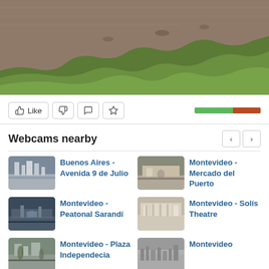[Figure (photo): Aerial/overhead view of a river shoreline with green aquatic vegetation (water hyacinth) covering part of the water surface, with brownish river water visible beyond the vegetation mass.]
Like (thumbs up button), Thumbs down button, Comment button, Favorite/star button, Rating bar (green and red)
Webcams nearby
Buenos Aires - Avenida 9 de Julio
Montevideo - Mercado del Puerto
Montevideo - Peatonal Sarandí
Montevideo - Solís Theatre
Montevideo - Plaza Independecia
Montevideo